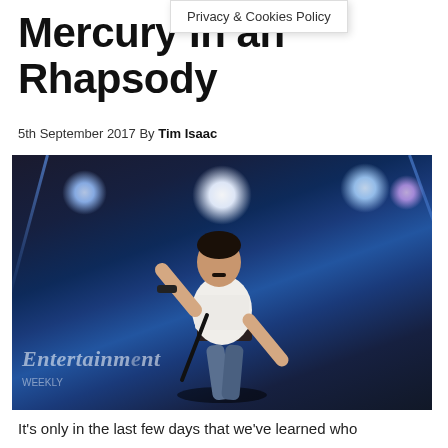Mercury In an Rhapsody
Privacy & Cookies Policy
5th September 2017 By Tim Isaac
[Figure (photo): Rami Malek as Freddie Mercury on stage in a white tank top holding a microphone stand, with blue stage lighting behind him. Entertainment Weekly watermark in lower left corner.]
It's only in the last few days that we've learned who